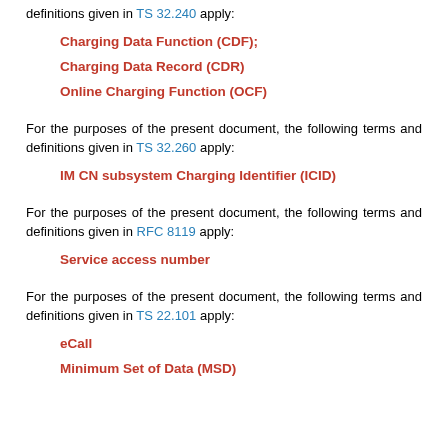definitions given in TS 32.240 apply:
Charging Data Function (CDF);
Charging Data Record (CDR)
Online Charging Function (OCF)
For the purposes of the present document, the following terms and definitions given in TS 32.260 apply:
IM CN subsystem Charging Identifier (ICID)
For the purposes of the present document, the following terms and definitions given in RFC 8119 apply:
Service access number
For the purposes of the present document, the following terms and definitions given in TS 22.101 apply:
eCall
Minimum Set of Data (MSD)